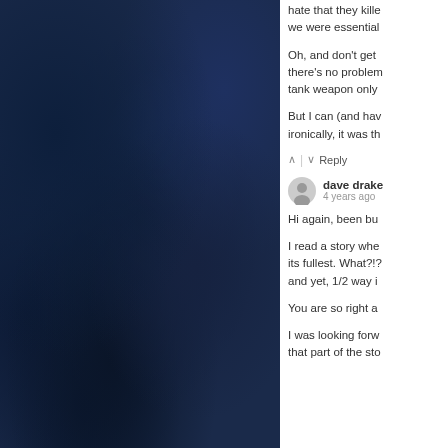[Figure (photo): Dark navy blue watercolor or textured background filling the left portion of the page]
hate that they kille we were essential
Oh, and don't get there's no problem tank weapon only
But I can (and hav ironically, it was th
↑ | ↓  Reply
dave drake
4 years ago
Hi again, been bu
I read a story whe its fullest. What?!? and yet, 1/2 way i
You are so right a
I was looking forw that part of the sto